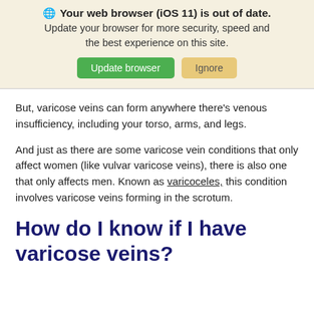Your web browser (iOS 11) is out of date. Update your browser for more security, speed and the best experience on this site. Update browser | Ignore
But, varicose veins can form anywhere there's venous insufficiency, including your torso, arms, and legs.
And just as there are some varicose vein conditions that only affect women (like vulvar varicose veins), there is also one that only affects men. Known as varicoceles, this condition involves varicose veins forming in the scrotum.
How do I know if I have varicose veins?